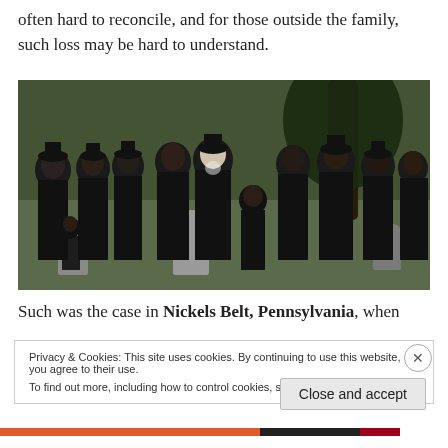often hard to reconcile, and for those outside the family, such loss may be hard to understand.
[Figure (photo): A group of people dressed in black mourning clothes standing at a cemetery with gravestones visible in the background and a large tree.]
Such was the case in Nickels Belt, Pennsylvania, when
Privacy & Cookies: This site uses cookies. By continuing to use this website, you agree to their use.
To find out more, including how to control cookies, see here: Cookie Policy
Close and accept